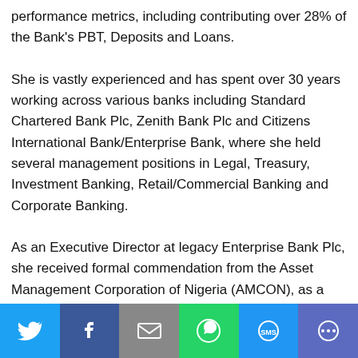performance metrics, including contributing over 28% of the Bank's PBT, Deposits and Loans.
She is vastly experienced and has spent over 30 years working across various banks including Standard Chartered Bank Plc, Zenith Bank Plc and Citizens International Bank/Enterprise Bank, where she held several management positions in Legal, Treasury, Investment Banking, Retail/Commercial Banking and Corporate Banking.
As an Executive Director at legacy Enterprise Bank Plc, she received formal commendation from the Asset Management Corporation of Nigeria (AMCON), as a member of the management team that successfully turned around Enterprise Bank...